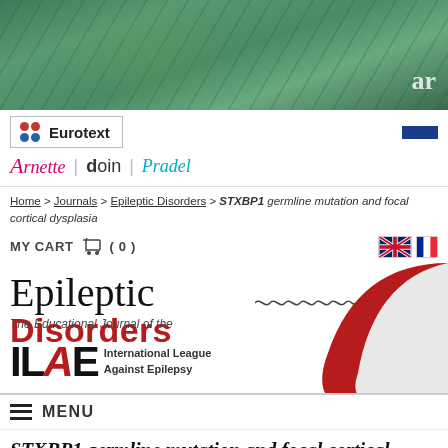[Figure (photo): Hero image of cannabis/hemp leaves with green tones, 'ar' text visible at bottom right]
[Figure (logo): Eurotext publisher logo with colored dots and bold 'Eurotext' text, alongside Arnette, doin, Pradel publisher logos]
Home > Journals > Epileptic Disorders > STXBP1 germline mutation and focal cortical dysplasia
MY CART ( 0 )
[Figure (logo): Epileptic Disorders journal banner — The Educational Journal of the International League Against Epilepsy (ILAE)]
MENU
STXBP1 germline mutation and focal cortical